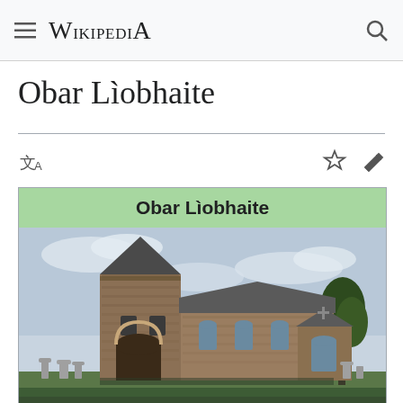Wikipedia
Obar Lìobhaite
[Figure (photo): Wikipedia mobile page for Obar Lìobhaite showing a stone church with a square tower, nave, and graveyard in the foreground under an overcast sky.]